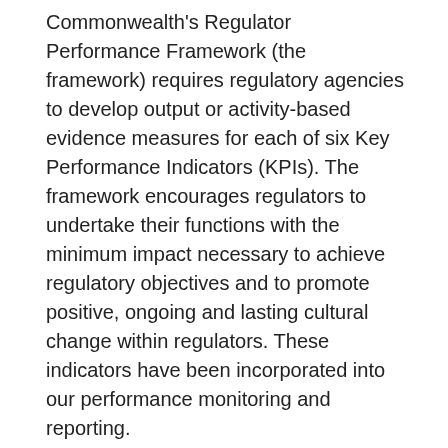Commonwealth's Regulator Performance Framework (the framework) requires regulatory agencies to develop output or activity-based evidence measures for each of six Key Performance Indicators (KPIs). The framework encourages regulators to undertake their functions with the minimum impact necessary to achieve regulatory objectives and to promote positive, ongoing and lasting cultural change within regulators. These indicators have been incorporated into our performance monitoring and reporting.

Our performance measures are presented under each of the six objectives. Progress against the measures and other commitments outlined in our Corporate Plan and agency business plans will be monitored and reported to ARPANSA executive and the Audit & Risk Committee on a quarterly basis. Our results for the year against the performance criteria detailed in this